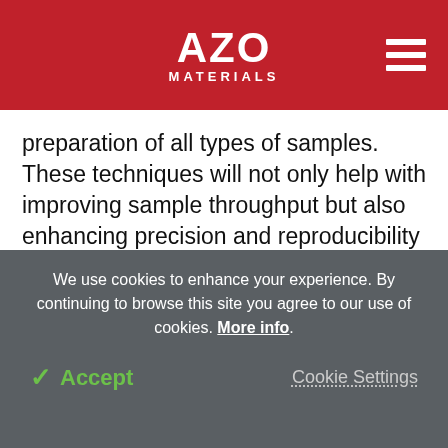AZO MATERIALS
preparation of all types of samples. These techniques will not only help with improving sample throughput but also enhancing precision and reproducibility of analyses and results.
Metrohm Inline Ultrafiltration is a combination of injection and filtration, thus eliminating any particles from the sample. This ensures that the analytical column is safe from contamination and extends its
We use cookies to enhance your experience. By continuing to browse this site you agree to our use of cookies. More info.
✓ Accept
Cookie Settings